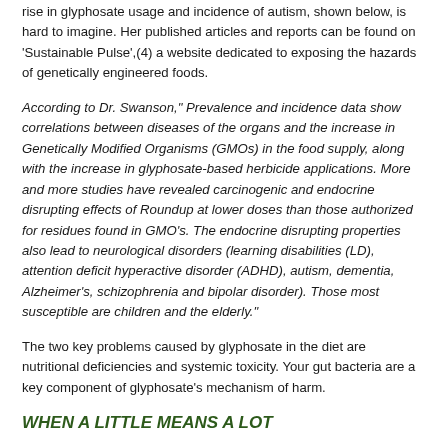rise in glyphosate usage and incidence of autism, shown below, is hard to imagine. Her published articles and reports can be found on 'Sustainable Pulse',(4) a website dedicated to exposing the hazards of genetically engineered foods.
According to Dr. Swanson," Prevalence and incidence data show correlations between diseases of the organs and the increase in Genetically Modified Organisms (GMOs) in the food supply, along with the increase in glyphosate-based herbicide applications. More and more studies have revealed carcinogenic and endocrine disrupting effects of Roundup at lower doses than those authorized for residues found in GMO's. The endocrine disrupting properties also lead to neurological disorders (learning disabilities (LD), attention deficit hyperactive disorder (ADHD), autism, dementia, Alzheimer's, schizophrenia and bipolar disorder). Those most susceptible are children and the elderly."
The two key problems caused by glyphosate in the diet are nutritional deficiencies and systemic toxicity. Your gut bacteria are a key component of glyphosate's mechanism of harm.
WHEN A LITTLE MEANS A LOT